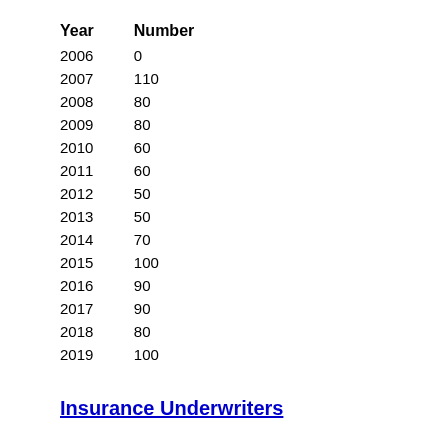| Year | Number |
| --- | --- |
| 2006 | 0 |
| 2007 | 110 |
| 2008 | 80 |
| 2009 | 80 |
| 2010 | 60 |
| 2011 | 60 |
| 2012 | 50 |
| 2013 | 50 |
| 2014 | 70 |
| 2015 | 100 |
| 2016 | 90 |
| 2017 | 90 |
| 2018 | 80 |
| 2019 | 100 |
Insurance Underwriters